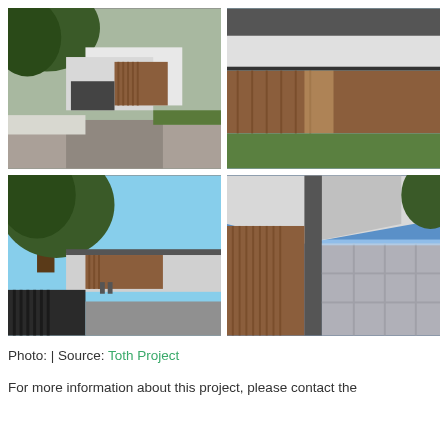[Figure (photo): Four architectural photographs of a modern house with wood panel cladding, white concrete volumes, trees, and gravel driveway arranged in a 2x2 grid.]
Photo: | Source: Toth Project
For more information about this project, please contact the